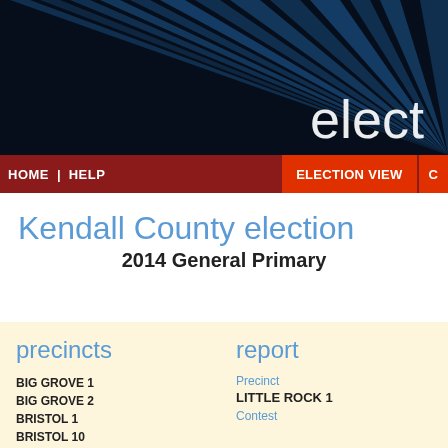[Figure (illustration): Election website header banner with dark blue/black background featuring radiating light rays pattern and partial text 'elect' visible in white on the right side]
HOME | HELP    ELECTION VIEW    C
Kendall County election
2014 General Primary
precincts
report
BIG GROVE 1
BIG GROVE 2
BRISTOL 1
BRISTOL 10
Precinct
LITTLE ROCK 1
Contest